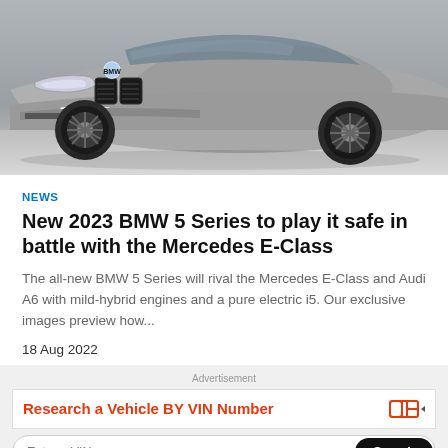[Figure (photo): Front view of a grey BMW 5 Series car (plate YB23 FXT) photographed in a studio/garage setting, showing the front grille, headlights, and wheels.]
NEWS
New 2023 BMW 5 Series to play it safe in battle with the Mercedes E-Class
The all-new BMW 5 Series will rival the Mercedes E-Class and Audi A6 with mild-hybrid engines and a pure electric i5. Our exclusive images preview how...
18 Aug 2022
Advertisement
Research a Vehicle BY VIN Number
Enter a VIN